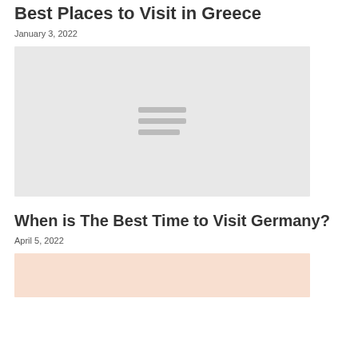Best Places to Visit in Greece
January 3, 2022
[Figure (photo): Placeholder image with lines icon, light gray background]
When is The Best Time to Visit Germany?
April 5, 2022
[Figure (photo): Partial placeholder image with peach/warm tone background, bottom of page]